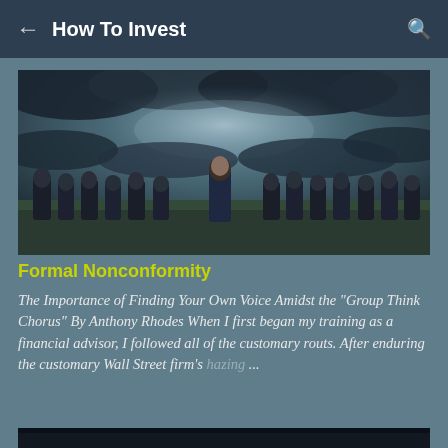How To Invest
[Figure (photo): A surreal illustration showing many men in dark suits with their backs turned, with one man in the center facing forward, under a dramatic stormy sky.]
Formal Nonconformity
The Importance of Finding Your Own Voice Amidst the "Group Think Chorus" By Anthony Rhodes When I first began my training as a financial advisor, I followed all of the customary routs. After enduring the customary Wall Street firm's hazing ...
[Figure (photo): Partially visible dark image at the bottom of the page.]